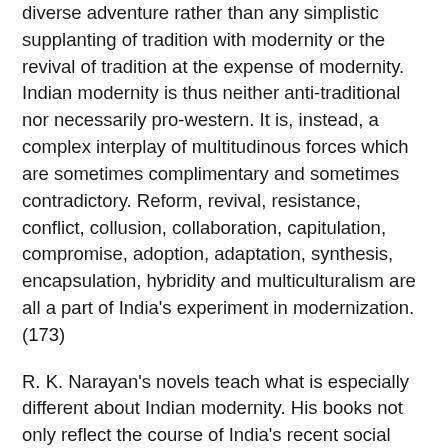diverse adventure rather than any simplistic supplanting of tradition with modernity or the revival of tradition at the expense of modernity. Indian modernity is thus neither anti-traditional nor necessarily pro-western. It is, instead, a complex interplay of multitudinous forces which are sometimes complimentary and sometimes contradictory. Reform, revival, resistance, conflict, collusion, collaboration, capitulation, compromise, adoption, adaptation, synthesis, encapsulation, hybridity and multiculturalism are all a part of India's experiment in modernization. (173)
R. K. Narayan's novels teach what is especially different about Indian modernity. His books not only reflect the course of India's recent social and cultural evolution, but actively articulate and arbitrate its various attitudes and stances. The western impact on Indian life and society is very well depicted in Narayan's novels. The East-West theme is thus unavoidable in his novels. But Narayan has not presented this theme in terms of a vast social, economic or political conflict, nor in terms of a philosophical confrontation. Its dimensions are ethical, so deep and unobtrusive that one might easily miss it